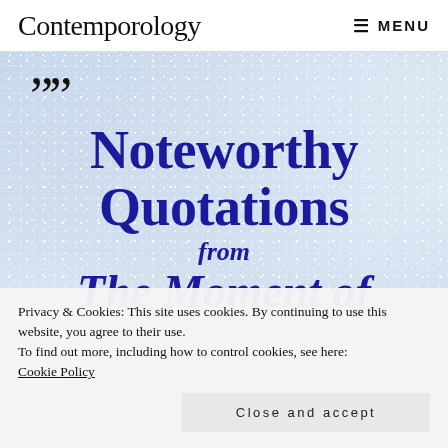Contemporology   ☰ MENU
[Figure (illustration): Icy/frosty silvery-blue background with large decorative closing quotation marks, bold dark blue heading 'Noteworthy Quotations from The Moment of' overlaid on the image]
Noteworthy Quotations from The Moment of
Privacy & Cookies: This site uses cookies. By continuing to use this website, you agree to their use.
To find out more, including how to control cookies, see here:
Cookie Policy
Close and accept